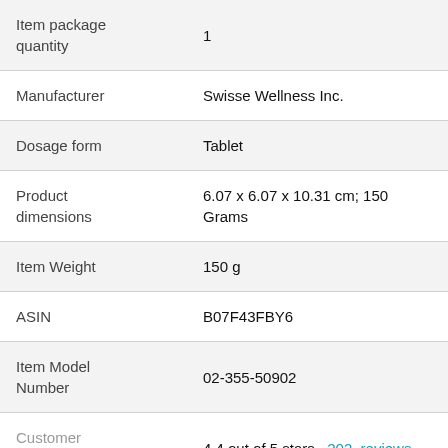| Field | Value |
| --- | --- |
| Item package quantity | 1 |
| Manufacturer | Swisse Wellness Inc. |
| Dosage form | Tablet |
| Product dimensions | 6.07 x 6.07 x 10.31 cm; 150 Grams |
| Item Weight | 150 g |
| ASIN | B07F43FBY6 |
| Item Model Number | 02-355-50902 |
| Customer Reviews | 4.4 out of 5 stars  202  reviews |